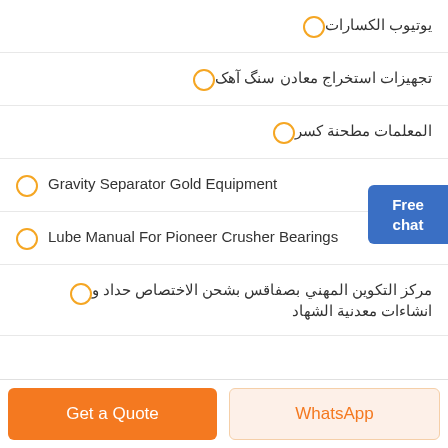يوتيوب الكسارات
تجهيزات استخراج معادن سنگ آهک
المعلمات مطحنة كسر
Gravity Separator Gold Equipment
Lube Manual For Pioneer Crusher Bearings
مركز التكوين المهني بصفاقس بشحن الاختصاص حداد و انشاءات معدنية الشهاد
[Figure (illustration): Free chat button widget with a person illustration, blue button labeled 'Free chat']
Get a Quote
WhatsApp